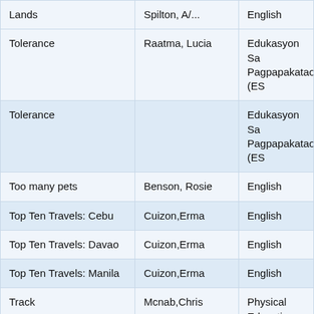| Title | Author | Subject |
| --- | --- | --- |
| Lands | Spilton, A/... | English |
| Tolerance | Raatma, Lucia | Edukasyon Sa Pagpapakatao (ES... |
| Tolerance |  | Edukasyon Sa Pagpapakatao (ES... |
| Too many pets | Benson, Rosie | English |
| Top Ten Travels: Cebu | Cuizon,Erma | English |
| Top Ten Travels: Davao | Cuizon,Erma | English |
| Top Ten Travels: Manila | Cuizon,Erma | English |
| Track | Mcnab,Chris | Physical Education |
| Treasure Island | Stevenson, Robert Louis | English |
| Treasury Stories | Manuel, Arsenio E. | English; Reading A Writing |
| Tropical Rain Forest | Tagliaferro,Linda | Earth Science |